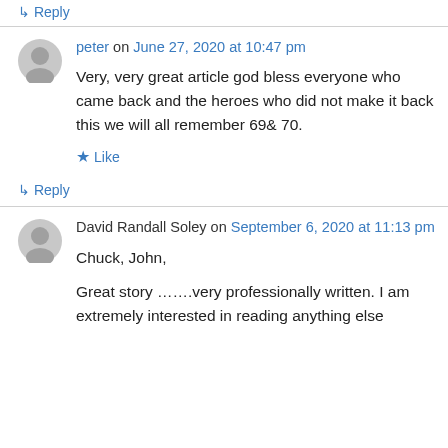↳ Reply
peter on June 27, 2020 at 10:47 pm
Very, very great article god bless everyone who came back and the heroes who did not make it back this we will all remember 69& 70.
★ Like
↳ Reply
David Randall Soley on September 6, 2020 at 11:13 pm
Chuck, John,
Great story …….very professionally written. I am extremely interested in reading anything else